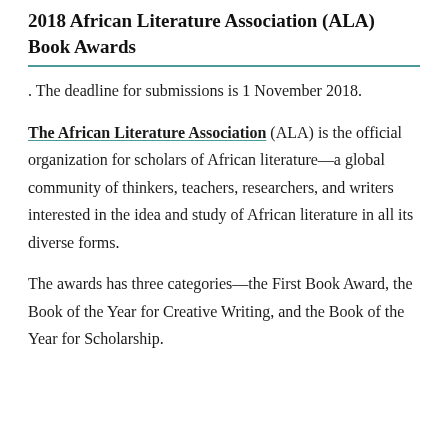2018 African Literature Association (ALA) Book Awards
. The deadline for submissions is 1 November 2018.
The African Literature Association (ALA) is the official organization for scholars of African literature—a global community of thinkers, teachers, researchers, and writers interested in the idea and study of African literature in all its diverse forms.
The awards has three categories—the First Book Award, the Book of the Year for Creative Writing, and the Book of the Year for Scholarship.